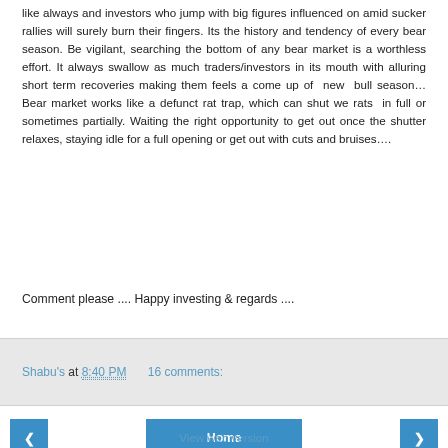like always and investors who jump with big figures influenced on amid sucker rallies will surely burn their fingers. Its the history and tendency of every bear season. Be vigilant, searching the bottom of any bear market is a worthless effort. It always swallow as much traders/investors in its mouth with alluring short term recoveries making them feels a come up of  new  bull season…Bear market works like a defunct rat trap, which can shut we rats  in full or sometimes partially. Waiting the right opportunity to get out once the shutter relaxes, staying idle for a full opening or get out with cuts and bruises….
Comment please .... Happy investing & regards ....
Shabu's at 8:40 PM   16 comments:
View web version